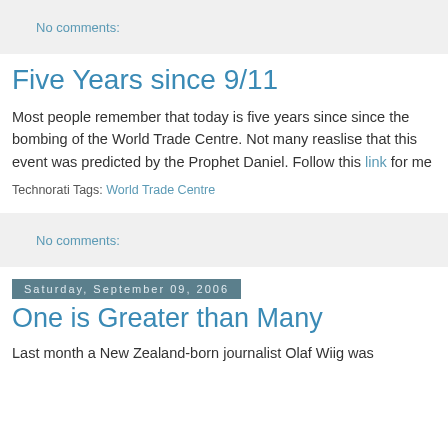No comments:
Five Years since 9/11
Most people remember that today is five years since since the bombing of the World Trade Centre. Not many reaslise that this event was predicted by the Prophet Daniel. Follow this link for me
Technorati Tags: World Trade Centre
No comments:
Saturday, September 09, 2006
One is Greater than Many
Last month a New Zealand-born journalist Olaf Wiig was